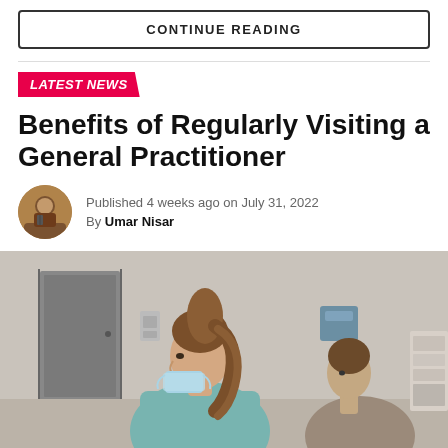CONTINUE READING
LATEST NEWS
Benefits of Regularly Visiting a General Practitioner
Published 4 weeks ago on July 31, 2022
By Umar Nisar
[Figure (photo): A female healthcare professional wearing a face mask pulled down under her chin, viewed from the side, speaking to a patient in a medical office setting. The background shows a blurred room with a door and shelving.]